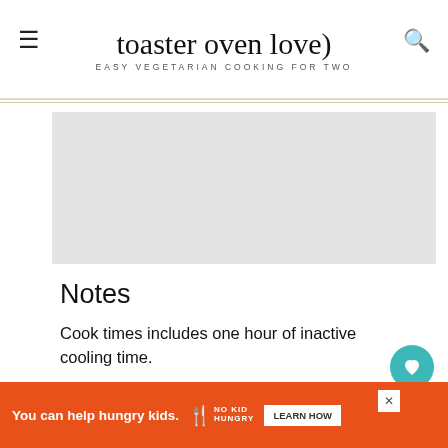toaster oven love — EASY VEGETARIAN COOKING FOR TWO
[Figure (photo): Gray placeholder image area within white card]
Notes
Cook times includes one hour of inactive cooling time.
The recipe makes about 12 ounces or 3 cups of granola.
[Figure (other): Advertisement banner: You can help hungry kids. No Kid Hungry. Learn How.]